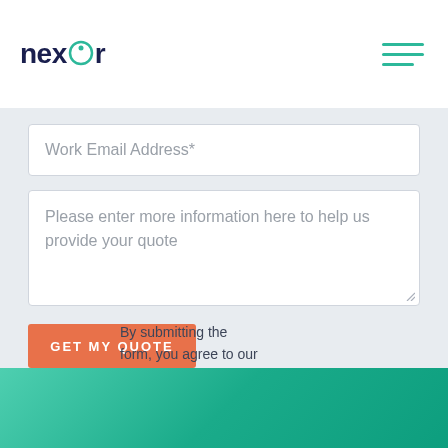[Figure (logo): Nexstor logo with teal circular icon replacing the 'o', dark navy text]
[Figure (other): Hamburger menu icon with three teal horizontal lines]
Work Email Address*
Please enter more information here to help us provide your quote
GET MY QUOTE
By submitting the form, you agree to our privacy policy.